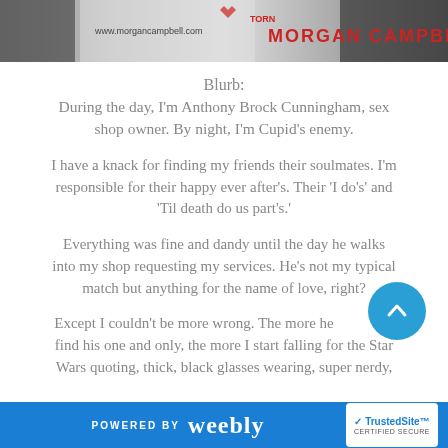[Figure (photo): Banner image showing a book cover for Morgan Campbell with decorative torn paper effect. Left side shows website URL www.morgancampbell.com, right side shows author name MORGAN CAMPBELL in bold red text.]
Blurb:
During the day, I'm Anthony Brock Cunningham, sex shop owner. By night, I'm Cupid's enemy.
I have a knack for finding my friends their soulmates. I'm responsible for their happy ever after's. Their 'I do's' and 'Til death do us part's.'
Everything was fine and dandy until the day he walks into my shop requesting my services. He's not my typical match but anything for the name of love, right?
Except I couldn't be more wrong. The more he tries to find his one and only, the more I start falling for the Star Wars quoting, thick, black glasses wearing, super nerdy,
POWERED BY weebly  TrustedSite CERTIFIED SECURE